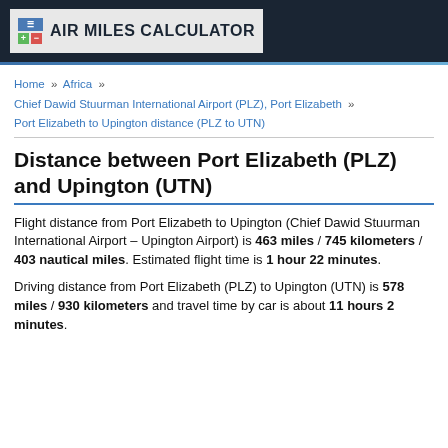AIR MILES CALCULATOR
Home » Africa » Chief Dawid Stuurman International Airport (PLZ), Port Elizabeth » Port Elizabeth to Upington distance (PLZ to UTN)
Distance between Port Elizabeth (PLZ) and Upington (UTN)
Flight distance from Port Elizabeth to Upington (Chief Dawid Stuurman International Airport – Upington Airport) is 463 miles / 745 kilometers / 403 nautical miles. Estimated flight time is 1 hour 22 minutes.
Driving distance from Port Elizabeth (PLZ) to Upington (UTN) is 578 miles / 930 kilometers and travel time by car is about 11 hours 2 minutes.